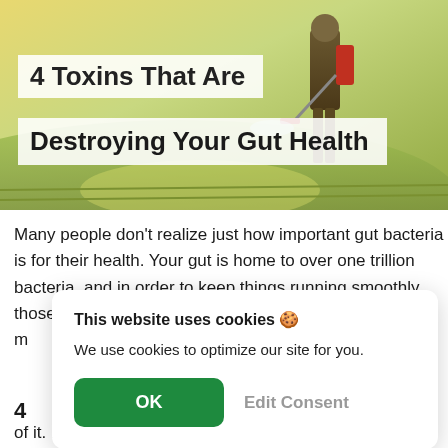[Figure (photo): A person spraying pesticides in a green field at golden hour, with a backpack sprayer, outdoors agricultural setting.]
4 Toxins That Are Destroying Your Gut Health
Many people don't realize just how important gut bacteria is for their health. Your gut is home to over one trillion bacteria, and in order to keep things running smoothly, those bacteria need to stay healthy. But, there are many, m[any ways...]
4 [Toxins...]
Y[our...] h[ealth...] of it. Here are four common toxins that may be
This website uses cookies 🍪
We use cookies to optimize our site for you.
OK   Edit Consent